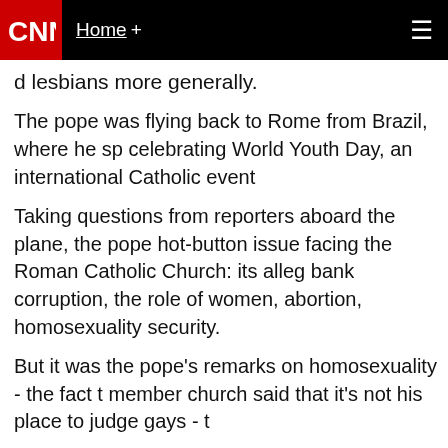CNN  Home +
d lesbians more generally.
The pope was flying back to Rome from Brazil, where he sp celebrating World Youth Day, an international Catholic event
Taking questions from reporters aboard the plane, the pope hot-button issue facing the Roman Catholic Church: its alleg bank corruption, the role of women, abortion, homosexuality security.
But it was the pope's remarks on homosexuality - the fact t member church said that it's not his place to judge gays - t
"Pope Francis's brief comment on gays reveals great mercy Martin, a Jesuit priest and editor at America, a Catholic ma
"Today Pope Francis has, once again, lived out the Gospel r everyone," Martin said.
The pontiff spoke  for an hour and a half in the back of the plane that wa his first international trip as pope to Brazil, where he was greeted by mas